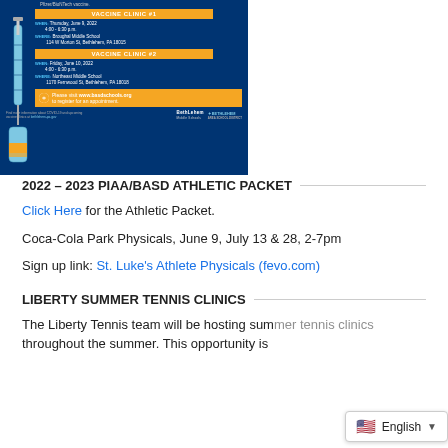[Figure (infographic): Vaccine clinic flyer for Pfizer/BioNTech COVID-19 vaccine with two clinic dates: Clinic #1 Thursday June 9 2022 4:00-6:30pm at Broughal Middle School 114 W Morton St Bethlehem PA 18015, Clinic #2 Friday June 10 2022 4:00-6:30pm at Northeast Middle School 1170 Fernwood St Bethlehem PA 18018. Register at www.basdschools.org. Logos for City of Bethlehem and Bethlehem Area School District at bottom.]
2022 – 2023 PIAA/BASD ATHLETIC PACKET
Click Here for the Athletic Packet.
Coca-Cola Park Physicals, June 9, July 13 & 28, 2-7pm
Sign up link: St. Luke's Athlete Physicals (fevo.com)
LIBERTY SUMMER TENNIS CLINICS
The Liberty Tennis team will be hosting summer tennis clinics throughout the summer. This opportunity is...